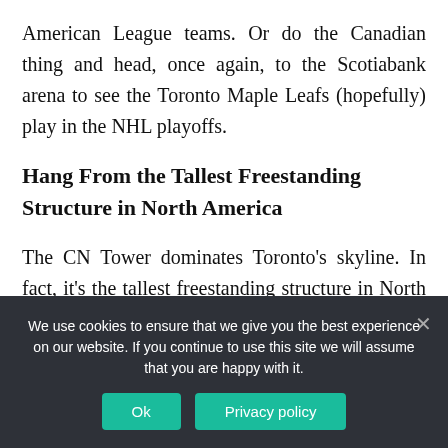American League teams. Or do the Canadian thing and head, once again, to the Scotiabank arena to see the Toronto Maple Leafs (hopefully) play in the NHL playoffs.
Hang From the Tallest Freestanding Structure in North America
The CN Tower dominates Toronto's skyline. In fact, it's the tallest freestanding structure in North America, edging out Chicago's Willis Tower
We use cookies to ensure that we give you the best experience on our website. If you continue to use this site we will assume that you are happy with it.